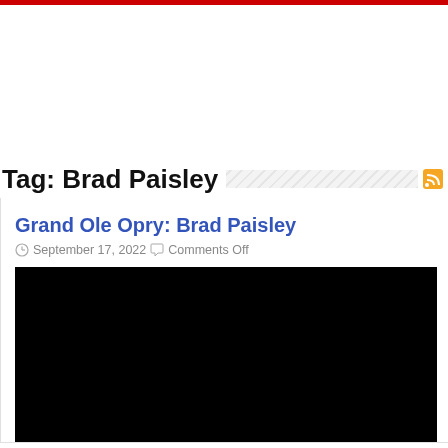Tag: Brad Paisley
Grand Ole Opry: Brad Paisley
September 17, 2022  Comments Off
[Figure (photo): Black video thumbnail image]